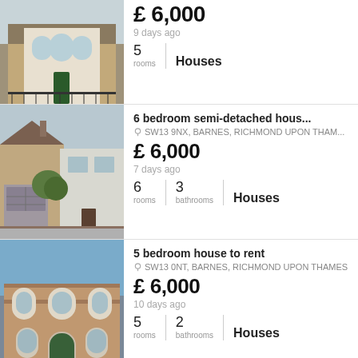[Figure (photo): Victorian terraced house with white arched windows, brick facade and iron railings]
£ 6,000
9 days ago
5 rooms | Houses
[Figure (photo): 6 bedroom semi-detached house with garage, white rendered upper storey and red brick lower]
6 bedroom semi-detached hous...
SW13 9NX, BARNES, RICHMOND UPON THAM...
£ 6,000
7 days ago
6 rooms | 3 bathrooms | Houses
[Figure (photo): 5 bedroom Victorian house with ornate brick detailing, arched windows and iron railings, photo count badge showing 17]
5 bedroom house to rent
SW13 0NT, BARNES, RICHMOND UPON THAMES
£ 6,000
10 days ago
5 rooms | 2 bathrooms | Houses
[Figure (photo): Partial view of a dark house exterior, partially cut off at bottom of page]
2 bedroom cottage to rent in ar...